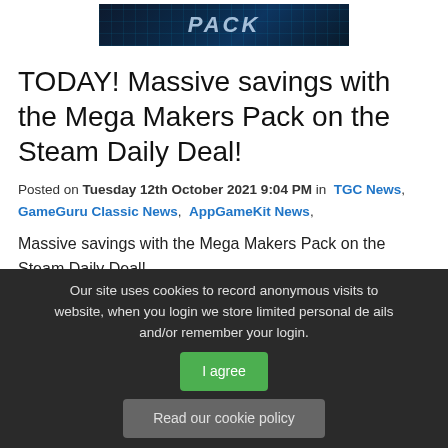[Figure (illustration): Dark blue circuit board / tech themed banner image with 'PACK' text visible]
TODAY! Massive savings with the Mega Makers Pack on the Steam Daily Deal!
Posted on Tuesday 12th October 2021 9:04 PM in TGC News, GameGuru Classic News, AppGameKit News,
Massive savings with the Mega Makers Pack on the Steam Daily Deal!
READ MORE >
Our site uses cookies to record anonymous visits to website, when you login we store limited personal details and/or remember your login.
I agree
Read our cookie policy